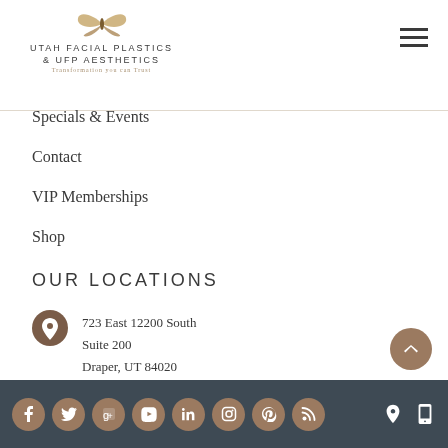[Figure (logo): Utah Facial Plastics & UFP Aesthetics logo with butterfly icon and tagline 'Transformation you can Trust']
Specials & Events
Contact
VIP Memberships
Shop
OUR LOCATIONS
723 East 12200 South
Suite 200
Draper, UT 84020
2255 N 1700 W
Suite 205
[Figure (infographic): Footer bar with social media icons (Facebook, Twitter, Google+, YouTube, LinkedIn, Instagram, Pinterest, RSS) and location/mobile icons on the right]